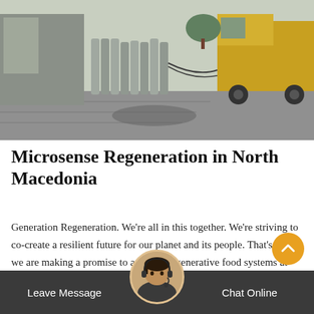[Figure (photo): Industrial outdoor scene showing gas cylinders/tanks lined up along a building, with a yellow truck/lorry on the right side, paved surface, and industrial infrastructure in the background.]
Microsense Regeneration in North Macedonia
Generation Regeneration. We're all in this together. We're striving to co-create a resilient future for our planet and its people. That's why we are making a promise to advance regenerative food systems at scale. Climate change and environmental threats such as the degradation of forests, land, soil and waterways are impacting farmers and